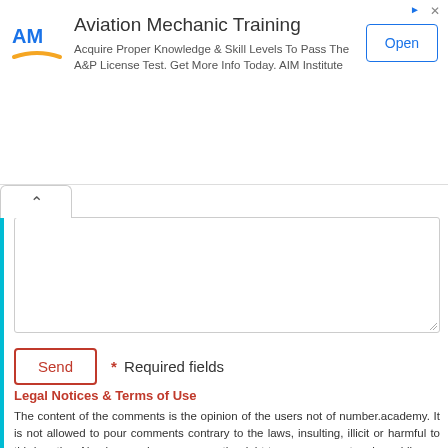[Figure (other): Advertisement banner for Aviation Mechanic Training by AIM Institute with logo, description text, and Open button]
Send  * Required fields
Legal Notices & Terms of Use
The content of the comments is the opinion of the users not of number.academy. It is not allowed to pour comments contrary to the laws, insulting, illicit or harmful to third parties. Number.academy reserves the right to remove or not make public any inappropriate comment. It also reserves the right to post a comment on another topic. Privacy Policy.